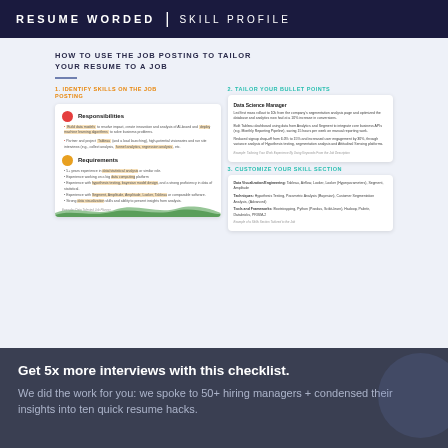RESUME WORDED | SKILL PROFILE
HOW TO USE THE JOB POSTING TO TAILOR YOUR RESUME TO A JOB
1. IDENTIFY SKILLS ON THE JOB POSTING
2. TAILOR YOUR BULLET POINTS
[Figure (infographic): Two-panel infographic showing job posting analysis with Responsibilities and Requirements sections with highlighted keywords, alongside a resume bullet point example for Data Science Manager]
3. CUSTOMIZE YOUR SKILL SECTION
[Figure (infographic): Skills section customization example showing Data Visualization/Engineering, Techniques, and Tools and Frameworks categories]
Get 5x more interviews with this checklist.
We did the work for you: we spoke to 50+ hiring managers + condensed their insights into ten quick resume hacks.
Get the checklist
✕ Close
Help
2.